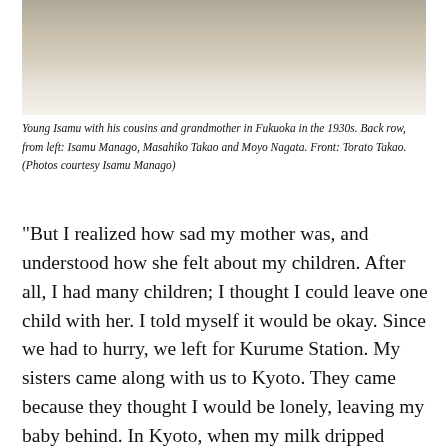[Figure (photo): Old sepia-toned photograph showing young Isamu with his cousins and grandmother in Fukuoka in the 1930s. The image is partially visible, cropped at the top of the page.]
Young Isamu with his cousins and grandmother in Fukuoka in the 1930s. Back row, from left: Isamu Manago, Masahiko Takao and Moyo Nagata. Front: Torato Takao. (Photos courtesy Isamu Manago)
“But I realized how sad my mother was, and understood how she felt about my children. After all, I had many children; I thought I could leave one child with her. I told myself it would be okay. Since we had to hurry, we left for Kurume Station. My sisters came along with us to Kyoto. They came because they thought I would be lonely, leaving my baby behind. In Kyoto, when my milk dripped through my thin kimono, my sisters cried, saying that the baby must be hungry. They were so sorry for the baby and me, my sister called home to check on the baby. My mother apparently told my sister that the baby had drunk milk and was sleeping soundly. When my sister told me the baby was doing okay, I thought, as long as